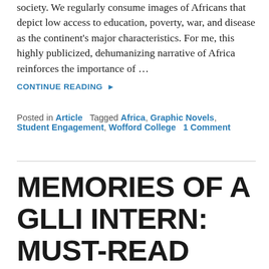...to how African literature is portrayed in American society. We regularly consume images of Africans that depict low access to education, poverty, war, and disease as the continent's major characteristics. For me, this highly publicized, dehumanizing narrative of Africa reinforces the importance of …
CONTINUE READING ▶
Posted in Article   Tagged Africa, Graphic Novels, Student Engagement, Wofford College   1 Comment
MEMORIES OF A GLLI INTERN: MUST-READ CHILDREN'S & YA BOOKS FROM THE MIDDLE EAST